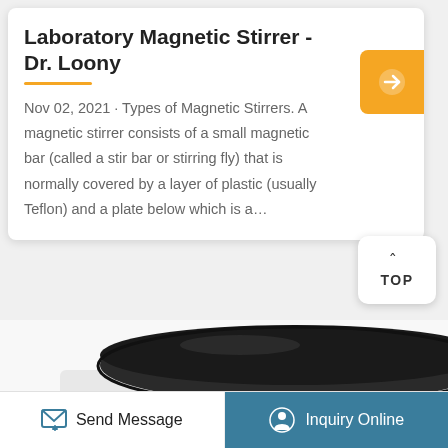Laboratory Magnetic Stirrer - Dr. Loony
Nov 02, 2021 · Types of Magnetic Stirrers. A magnetic stirrer consists of a small magnetic bar (called a stir bar or stirring fly) that is normally covered by a layer of plastic (usually Teflon) and a plate below which is a…
[Figure (photo): Photo of a laboratory magnetic stirrer showing a round black stirring plate on top of a white device body with a control panel visible on the right side]
Send Message
Inquiry Online